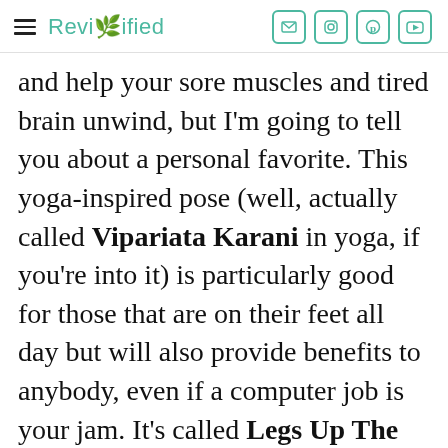Revivified
and help your sore muscles and tired brain unwind, but I'm going to tell you about a personal favorite. This yoga-inspired pose (well, actually called Vipariata Karani in yoga, if you're into it) is particularly good for those that are on their feet all day but will also provide benefits to anybody, even if a computer job is your jam. It's called Legs Up The Wall, and it is absolutely as easy as it